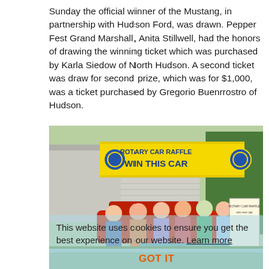Sunday the official winner of the Mustang, in partnership with Hudson Ford, was drawn. Pepper Fest Grand Marshall, Anita Stillwell, had the honors of drawing the winning ticket which was purchased by Karla Siedow of North Hudson. A second ticket was draw for second prize, which was for $1,000, was a ticket purchased by Gregorio Buenrrostro of Hudson.
[Figure (photo): Group photo of people standing in front of a yellow banner reading 'ROTARY CAR RAFFLE WIN THIS CAR' at an outdoor event. A cookie consent overlay banner is visible at the bottom of the image with text 'This website uses cookies to ensure you get the best experience on our website. Learn more' and a 'GOT IT' button.]